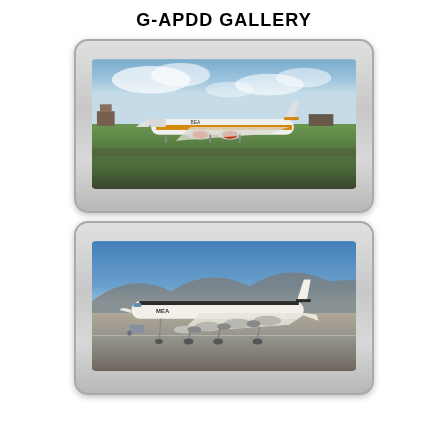G-APDD GALLERY
[Figure (photo): Photograph of a BEA (British European Airways) de Havilland Comet aircraft G-APDD on grass airfield with cloudy sky, shown on a slide mount frame]
[Figure (photo): Photograph of a MEA (Middle East Airlines) de Havilland Comet aircraft G-APDD on airport tarmac with clear blue sky, shown on a slide mount frame]